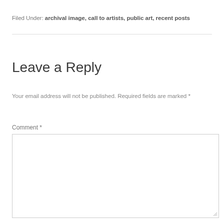Filed Under: archival image, call to artists, public art, recent posts
Leave a Reply
Your email address will not be published. Required fields are marked *
Comment *